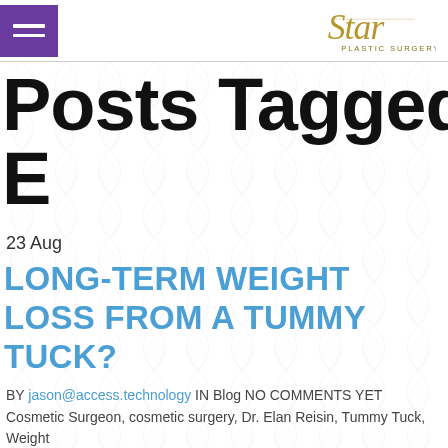[Figure (logo): Star Plastic Surgery logo in gold script with hamburger menu icon in purple]
Posts Tagged / Dr. E
23 Aug
LONG-TERM WEIGHT LOSS FROM A TUMMY TUCK?
BY jason@access.technology IN Blog NO COMMENTS YET Cosmetic Surgeon, cosmetic surgery, Dr. Elan Reisin, Tummy Tuck, Weight